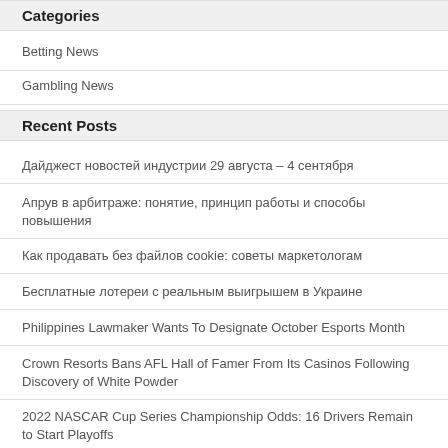Categories
Betting News
Gambling News
Recent Posts
Дайджест новостей индустрии 29 августа – 4 сентября
Апрув в арбитраже: понятие, принцип работы и способы повышения
Как продавать без файлов cookie: советы маркетологам
Бесплатные лотереи с реальным выигрышем в Украине
Philippines Lawmaker Wants To Designate October Esports Month
Crown Resorts Bans AFL Hall of Famer From Its Casinos Following Discovery of White Powder
2022 NASCAR Cup Series Championship Odds: 16 Drivers Remain to Start Playoffs